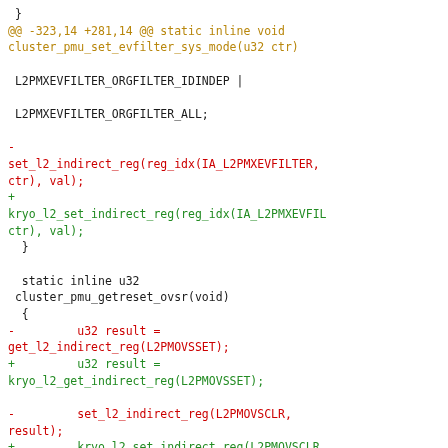[Figure (screenshot): A code diff snippet showing changes in a kernel/driver file. Lines in gold/orange are context lines (diff header), green lines are additions (+), red lines are removals (-), and dark lines are unchanged context. The diff shows replacement of set_l2_indirect_reg and get_l2_indirect_reg calls with kryo_l2_set_indirect_reg and kryo_l2_get_indirect_reg in cluster_pmu_set_evfilter_sys_mode and cluster_pmu_getreset_ovsr functions.]